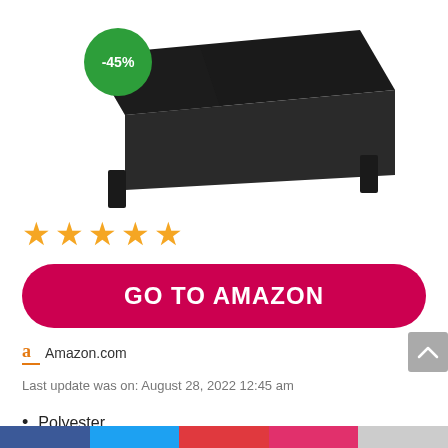[Figure (photo): Black spandex/stretch table cover on a rectangular folding table, viewed at a slight angle. A green circular badge with '-45%' is overlaid on the top-left of the image.]
[Figure (other): Five orange star rating icons in a row]
[Figure (other): Red rounded rectangle button with text 'GO TO AMAZON' in white bold capitals]
Amazon.com
Last update was on: August 28, 2022 12:45 am
Polyester